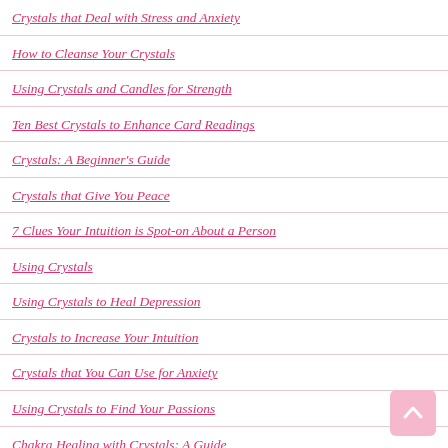Crystals that Deal with Stress and Anxiety
How to Cleanse Your Crystals
Using Crystals and Candles for Strength
Ten Best Crystals to Enhance Card Readings
Crystals: A Beginner's Guide
Crystals that Give You Peace
7 Clues Your Intuition is Spot-on About a Person
Using Crystals
Using Crystals to Heal Depression
Crystals to Increase Your Intuition
Crystals that You Can Use for Anxiety
Using Crystals to Find Your Passions
Chakra Healing with Crystals: A Guide
Cleansing the Chakra Using Crystals
Protecting Yourself as an Empath